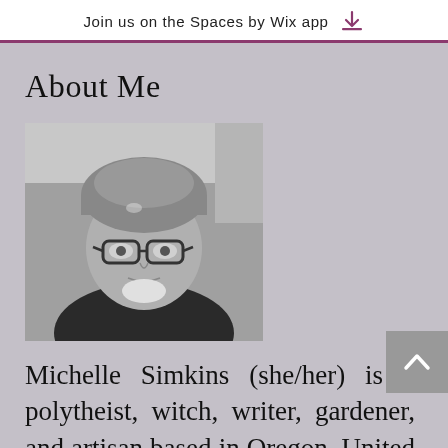Join us on the Spaces by Wix app
About Me
[Figure (photo): Black and white portrait photo of a person wearing a beanie hat and glasses, looking at the camera.]
Michelle Simkins (she/her) is a polytheist, witch, writer, gardener, and artisan based in Oregon, United States. She...